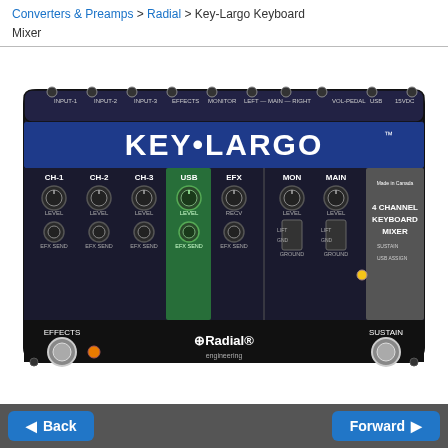Converters & Preamps > Radial > Key-Largo Keyboard Mixer
[Figure (photo): Radial Key-Largo 4 Channel Keyboard Mixer pedal unit, showing top panel with INPUT-1, INPUT-2, INPUT-3, EFFECTS, MONITOR, LEFT-MAIN-RIGHT, VOL-PEDAL, USB, 15VDC connections; front panel with CH-1, CH-2, CH-3, USB, EFX, MON, MAIN channel knobs with LEVEL and EFX SEND controls; EFFECTS and SUSTAIN footswitches; Radial engineering logo]
Back   Forward